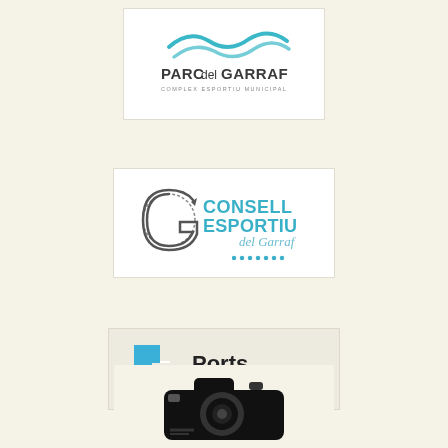[Figure (logo): Parc del Garraf - Complex Esportiu Municipal logo with teal wave graphic]
[Figure (logo): Consell Esportiu del Garraf logo with circular sketch and blue text]
[Figure (logo): Ports de la Generalitat logo with blue square shapes and text]
[Figure (logo): Camera icon / photo logo in black silhouette]